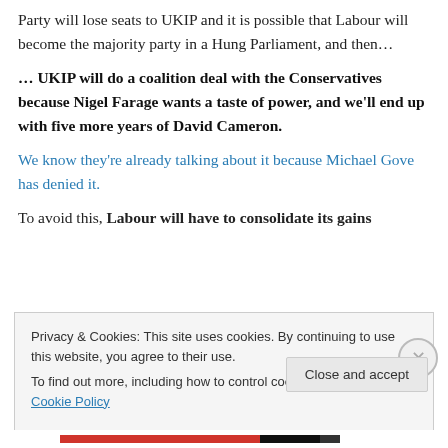Party will lose seats to UKIP and it is possible that Labour will become the majority party in a Hung Parliament, and then…
… UKIP will do a coalition deal with the Conservatives because Nigel Farage wants a taste of power, and we'll end up with five more years of David Cameron.
We know they're already talking about it because Michael Gove has denied it.
To avoid this, Labour will have to consolidate its gains
Privacy & Cookies: This site uses cookies. By continuing to use this website, you agree to their use.
To find out more, including how to control cookies, see here: Cookie Policy